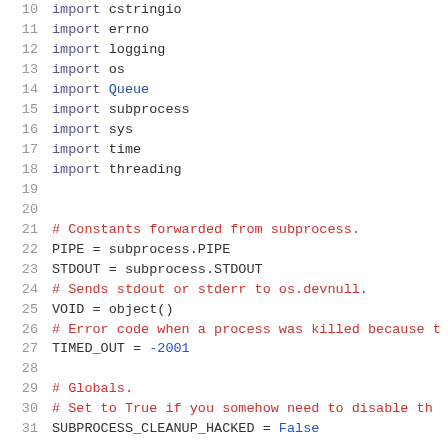10    import cstringio
11    import errno
12    import logging
13    import os
14    import Queue
15    import subprocess
16    import sys
17    import time
18    import threading
19
20
21    # Constants forwarded from subprocess.
22    PIPE = subprocess.PIPE
23    STDOUT = subprocess.STDOUT
24    # Sends stdout or stderr to os.devnull.
25    VOID = object()
26    # Error code when a process was killed because t
27    TIMED_OUT = -2001
28
29    # Globals.
30    # Set to True if you somehow need to disable th
31    SUBPROCESS_CLEANUP_HACKED = False